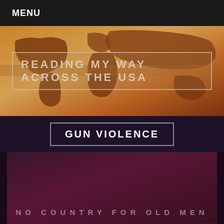MENU
[Figure (illustration): World map banner with warm brown/orange antique tones, used as website header background]
READING MY WAY ACROSS THE USA
GUN VIOLENCE
[Figure (illustration): Dark maroon/purple book cover for 'No Country for Old Men']
NO COUNTRY FOR OLD MEN